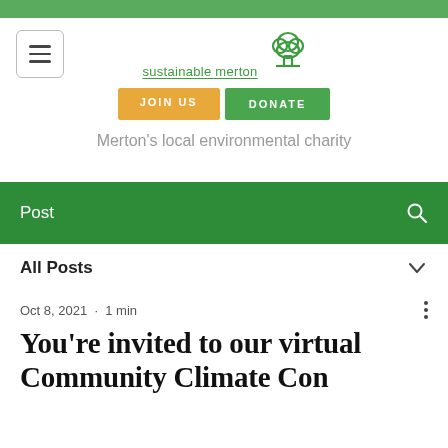[Figure (logo): Sustainable Merton logo: a green tree outline with the text 'sustainable merton' underneath, stylized with underline]
[Figure (other): JOIN US button (orange) and DONATE button (green)]
Merton's local environmental charity
Post
All Posts
Oct 8, 2021 · 1 min
You're invited to our virtual Community Climate Conference...